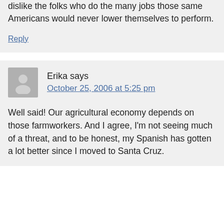comprehension how so many Americans can dislike the folks who do the many jobs those same Americans would never lower themselves to perform.
Reply
Erika says
October 25, 2006 at 5:25 pm
Well said! Our agricultural economy depends on those farmworkers. And I agree, I'm not seeing much of a threat, and to be honest, my Spanish has gotten a lot better since I moved to Santa Cruz.